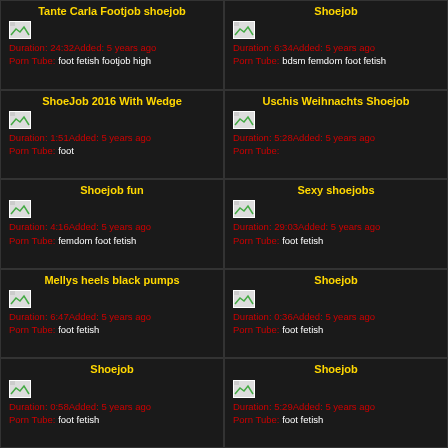Tante Carla Footjob shoejob
Duration: 24:32Added: 5 years ago
Porn Tube: foot fetish footjob high
Shoejob
Duration: 6:34Added: 5 years ago
Porn Tube: bdsm femdom foot fetish
ShoeJob 2016 With Wedge
Duration: 1:51Added: 5 years ago
Porn Tube: foot
Uschis Weihnachts Shoejob
Duration: 5:28Added: 5 years ago
Porn Tube:
Shoejob fun
Duration: 4:16Added: 5 years ago
Porn Tube: femdom foot fetish
Sexy shoejobs
Duration: 29:03Added: 5 years ago
Porn Tube: foot fetish
Mellys heels black pumps
Duration: 6:47Added: 5 years ago
Porn Tube: foot fetish
Shoejob
Duration: 0:36Added: 5 years ago
Porn Tube: foot fetish
Shoejob
Duration: 0:58Added: 5 years ago
Porn Tube: foot fetish
Shoejob
Duration: 5:29Added: 5 years ago
Porn Tube: foot fetish